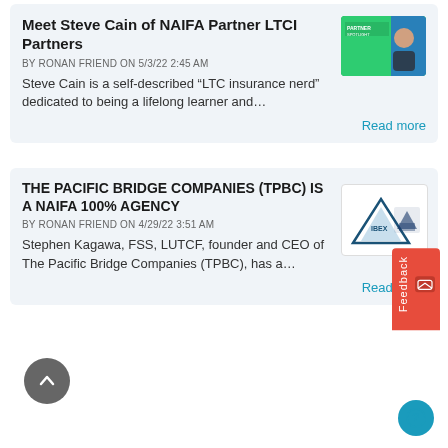Meet Steve Cain of NAIFA Partner LTCI Partners
BY RONAN FRIEND ON 5/3/22 2:45 AM
Steve Cain is a self-described “LTC insurance nerd” dedicated to being a lifelong learner and…
Read more
THE PACIFIC BRIDGE COMPANIES (TPBC) IS A NAIFA 100% AGENCY
BY RONAN FRIEND ON 4/29/22 3:51 AM
Stephen Kagawa, FSS, LUTCF, founder and CEO of The Pacific Bridge Companies (TPBC), has a…
Read more